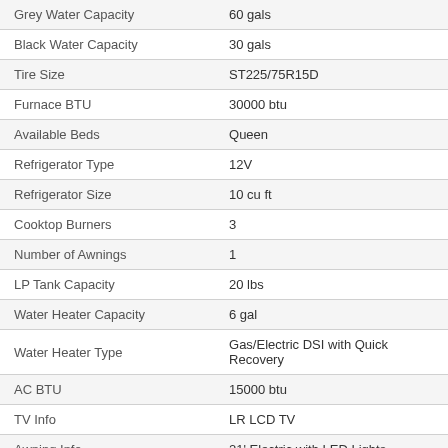| Specification | Value |
| --- | --- |
| Grey Water Capacity | 60 gals |
| Black Water Capacity | 30 gals |
| Tire Size | ST225/75R15D |
| Furnace BTU | 30000 btu |
| Available Beds | Queen |
| Refrigerator Type | 12V |
| Refrigerator Size | 10 cu ft |
| Cooktop Burners | 3 |
| Number of Awnings | 1 |
| LP Tank Capacity | 20 lbs |
| Water Heater Capacity | 6 gal |
| Water Heater Type | Gas/Electric DSI with Quick Recovery |
| AC BTU | 15000 btu |
| TV Info | LR LCD TV |
| Awning Info | 21' Electric with LED Lights |
| Axle Count | 2 |
| Number of LP Tanks | 2 |
| Shower Type | Radius |